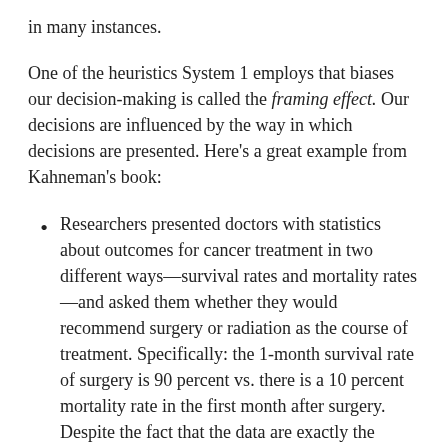in many instances.
One of the heuristics System 1 employs that biases our decision-making is called the framing effect. Our decisions are influenced by the way in which decisions are presented. Here’s a great example from Kahneman’s book:
Researchers presented doctors with statistics about outcomes for cancer treatment in two different ways—survival rates and mortality rates—and asked them whether they would recommend surgery or radiation as the course of treatment. Specifically: the 1-month survival rate of surgery is 90 percent vs. there is a 10 percent mortality rate in the first month after surgery. Despite the fact that the data are exactly the same, just presented or framed differently, a much higher percentage of doctors selected surgery when framed from a survival than mortality perspective. Why? Because even among people trained to treat cancer